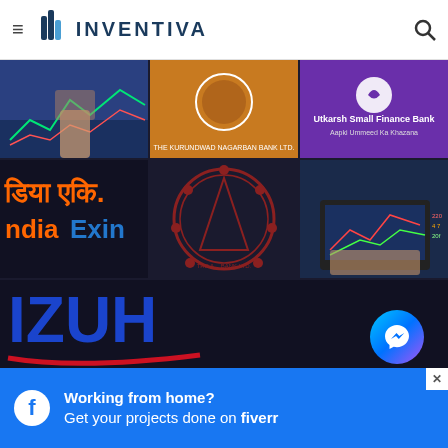INVENTIVA - Last Published Posts
[Figure (screenshot): Stock market chart with hands touching screen]
[Figure (screenshot): The Kurundwad Nagarban Bank Ltd logo on orange background]
[Figure (screenshot): Utkarsh Small Finance Bank - Aapki Ummeed Ka Khazana on purple background]
[Figure (screenshot): India Exim Bank text in Hindi and English orange and blue on dark background]
[Figure (screenshot): The Allahabad Bank circular logo/seal on dark background]
[Figure (screenshot): Person typing on laptop with stock charts on dark background]
[Figure (logo): IZUH logo in blue large text with red underline on dark background]
Categories
Working from home? Get your projects done on fiverr